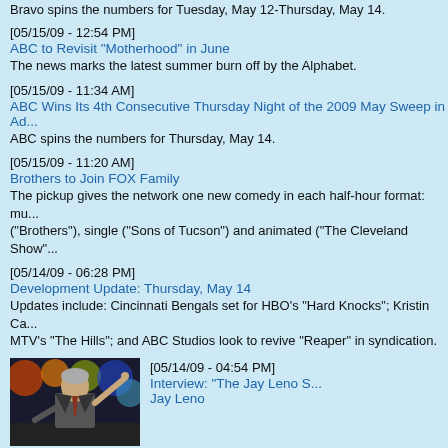Bravo spins the numbers for Tuesday, May 12-Thursday, May 14.
[05/15/09 - 12:54 PM]
ABC to Revisit "Motherhood" in June
The news marks the latest summer burn off by the Alphabet.
[05/15/09 - 11:34 AM]
ABC Wins Its 4th Consecutive Thursday Night of the 2009 May Sweep in Ad...
ABC spins the numbers for Thursday, May 14.
[05/15/09 - 11:20 AM]
Brothers to Join FOX Family
The pickup gives the network one new comedy in each half-hour format: mu... ("Brothers"), single ("Sons of Tucson") and animated ("The Cleveland Show"...
[05/14/09 - 06:28 PM]
Development Update: Thursday, May 14
Updates include: Cincinnati Bengals set for HBO's "Hard Knocks"; Kristin Ca... MTV's "The Hills"; and ABC Studios look to revive "Reaper" in syndication.
[Figure (photo): Photo of Jay Leno on stage with finger pointing up, colorful background lights]
[05/14/09 - 04:54 PM]
Interview: "The Jay Leno S... Jay Leno
[05/14/09 - 01:46 PM]
Comedy Central(R) Locks in the Laughs with Its 2009-2010 Development Sl... Greenlights Animated Series "Ugly Americans"
Said slate includes projects from Jamie Foxx, Ron White, Andy Dick, Judah...